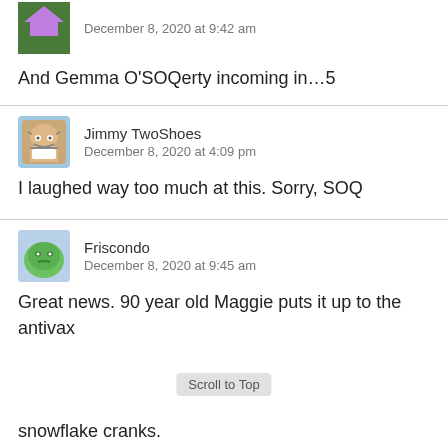December 8, 2020 at 9:42 am
And Gemma O'SOQerty incoming in…5
Jimmy TwoShoes
December 8, 2020 at 4:09 pm
I laughed way too much at this. Sorry, SOQ
Friscondo
December 8, 2020 at 9:45 am
Great news. 90 year old Maggie puts it up to the antivax snowflake cranks.